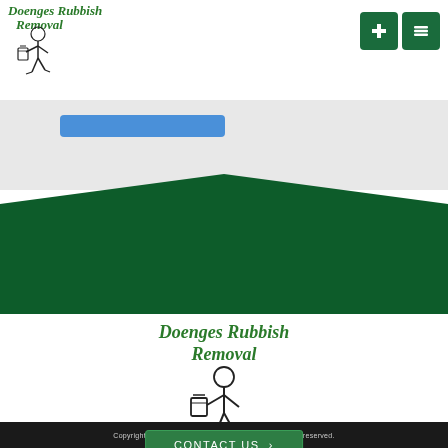[Figure (logo): Doenges Rubbish Removal logo with text and cartoon man carrying trash can — top left header]
[Figure (screenshot): Navigation buttons (plus and list icon) top right, dark green squares]
[Figure (screenshot): Light grey tile grid background with partial blue bar UI element]
[Figure (illustration): Dark green triangular/chevron section with CONTACT US button]
[Figure (logo): Doenges Rubbish Removal footer logo with larger text and cartoon man carrying trash can]
Copyright © 2022 Doenges Rubbish Removal, all rights reserved.